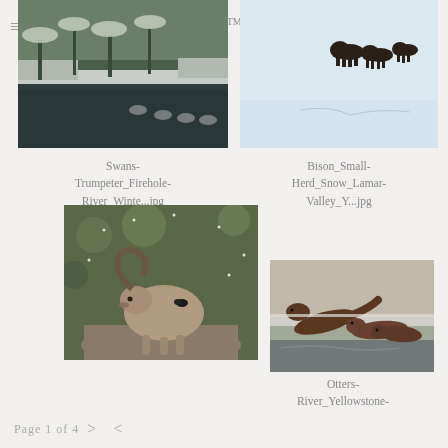LivingWilderness™
[Figure (photo): Trumpeter swans swimming on a river in winter with snow-covered trees in background]
[Figure (photo): Small herd of bison walking across a snowy landscape in Lamar Valley, Yellowstone]
Swans-Trumpeter_Firehole-River_Winte...jpg
Bison_Small-Herd_Snow_Lamar-Valley_Y...jpg
[Figure (photo): Bighorn sheep ram resting on rocks in snowy conditions]
[Figure (photo): River otters on ice/snow at the edge of a frozen river, Yellowstone]
Otters-River_Yellowstone-River_Froze...jpg
Page 1 of 4  >  <